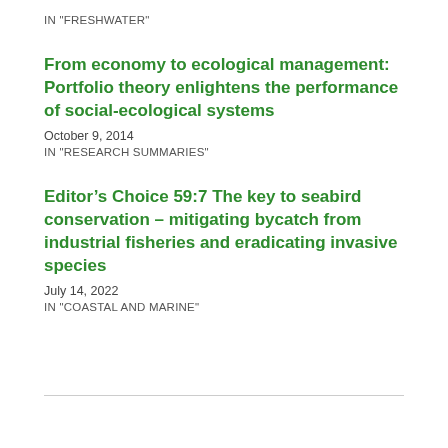IN "FRESHWATER"
From economy to ecological management: Portfolio theory enlightens the performance of social-ecological systems
October 9, 2014
IN "RESEARCH SUMMARIES"
Editor’s Choice 59:7 The key to seabird conservation – mitigating bycatch from industrial fisheries and eradicating invasive species
July 14, 2022
IN "COASTAL AND MARINE"